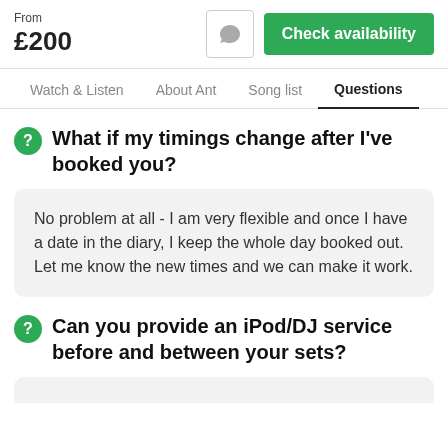From
£200
Check availability
Watch & Listen   About Ant   Song list   Questions
What if my timings change after I've booked you?
No problem at all - I am very flexible and once I have a date in the diary, I keep the whole day booked out. Let me know the new times and we can make it work.
Can you provide an iPod/DJ service before and between your sets?